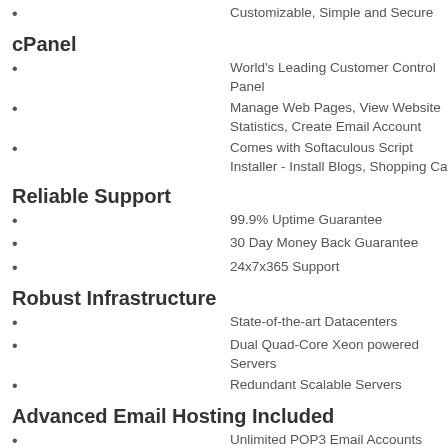Customizable, Simple and Secure
cPanel
World's Leading Customer Control Panel
Manage Web Pages, View Website Statistics, Create Email Account
Comes with Softaculous Script Installer - Install Blogs, Shopping Ca
Reliable Support
99.9% Uptime Guarantee
30 Day Money Back Guarantee
24x7x365 Support
Robust Infrastructure
State-of-the-art Datacenters
Dual Quad-Core Xeon powered Servers
Redundant Scalable Servers
Advanced Email Hosting Included
Unlimited POP3 Email Accounts with SMTP
IMAP Support
Easy to use Webmail Interface
Hosting Features & Addons
Unlimited Add-On Domains
Unlimited Sub-Domains
Unlimited Databases
Parked Domains
Unlimited FTP Accounts